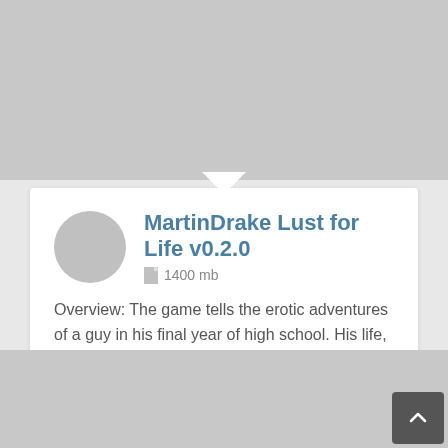[Figure (other): Gray placeholder image at top of page]
MartinDrake Lust for Life v0.2.0
1400 mb
Overview: The game tells the erotic adventures of a guy in his final year of high school. His life, so far lacking in sexual experiences, will undergo a big change. The game is an...
[Figure (other): Three download buttons: Keep2Share, FILEBOOM, FlorenFile]
[Figure (other): Gray placeholder image at bottom of page]